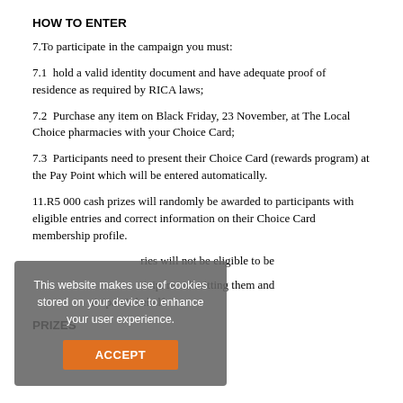HOW TO ENTER
7.To participate in the campaign you must:
7.1  hold a valid identity document and have adequate proof of residence as required by RICA laws;
7.2  Purchase any item on Black Friday, 23 November, at The Local Choice pharmacies with your Choice Card;
7.3  Participants need to present their Choice Card (rewards program) at the Pay Point which will be entered automatically.
11.R5 000 cash prizes will randomly be awarded to participants with eligible entries and correct information on their Choice Card membership profile.
...ries will not be eligible to be
...ticipant submitting them and ...ticipant's behalf.
PRIZES